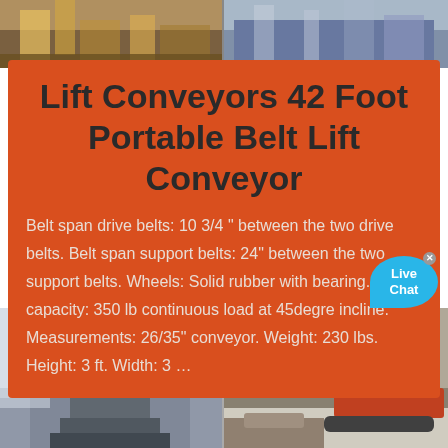[Figure (photo): Two industrial machinery photos side by side at top of page showing construction/mining equipment]
Lift Conveyors 42 Foot Portable Belt Lift Conveyor
Belt span drive belts: 10 3/4 " between the two drive belts. Belt span support belts: 24" between the two support belts. Wheels: Solid rubber with bearing. Load capacity: 350 lb continuous load at 45degre incline. Measurements: 26/35" conveyor. Weight: 230 lbs. Height: 3 ft. Width: 3 …
[Figure (photo): Two industrial machinery photos side by side at bottom of page: left shows a grinding mill in a factory, right shows an excavator/crusher in a snowy outdoor setting]